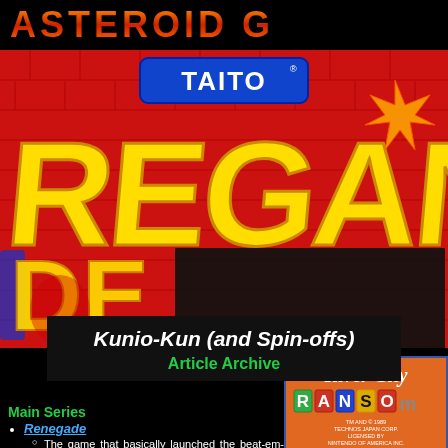ASTEROID G
[Figure (photo): Arcade marquee/title art for Renegade by Taito showing large yellow letters on a red brick background with TAITO logo at top]
Kunio-Kun (and Spin-offs)
Article Archive
Main Series
Renegade
The game that basically launched the beat-em-up arcade genre, this
[Figure (screenshot): River City Ransom game title screen on orange background with colorful block letters spelling RANSOM, showing TM and copyright 1989 Technos Japan Corp., Licensed By Nintendo of America Inc.]